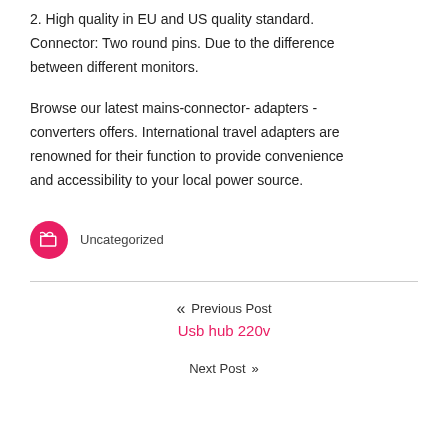2. High quality in EU and US quality standard. Connector: Two round pins. Due to the difference between different monitors.
Browse our latest mains-connector- adapters - converters offers. International travel adapters are renowned for their function to provide convenience and accessibility to your local power source.
Uncategorized
Previous Post
Usb hub 220v
Next Post